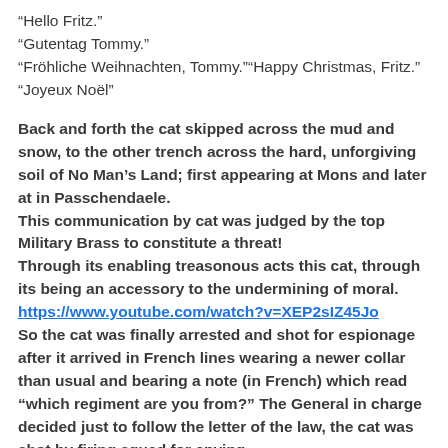“Hello Fritz.”
“Gutentag Tommy.”
“Fröhliche Weihnachten, Tommy.”“Happy Christmas, Fritz.”
“Joyeux Noël”
Back and forth the cat skipped across the mud and snow, to the other trench across the hard, unforgiving soil of No Man’s Land; first appearing at Mons and later at in Passchendaele.
This communication by cat was judged by the top Military Brass to constitute a threat!
Through its enabling treasonous acts this cat, through its being an accessory to the undermining of moral.
https://www.youtube.com/watch?v=XEP2sIZ45Jo
So the cat was finally arrested and shot for espionage after it arrived in French lines wearing a newer collar than usual and bearing a note (in French) which read “which regiment are you from?” The General in charge decided just to follow the letter of the law, the cat was shot by firing squad for spying.
That was World War One; a war crime that left fifty